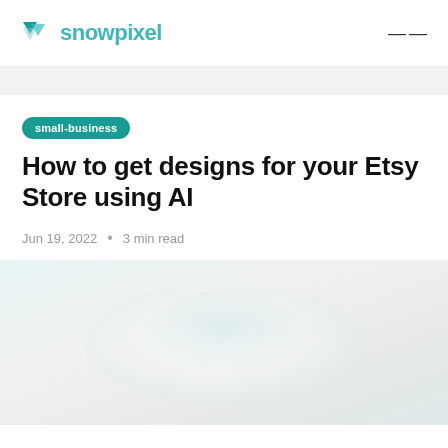snowpixel
small-business
How to get designs for your Etsy Store using AI
Jun 19, 2022 • 3 min read
[Figure (photo): Hero image with light teal/gray gradient background, faint abstract shapes suggesting the snowpixel design aesthetic]